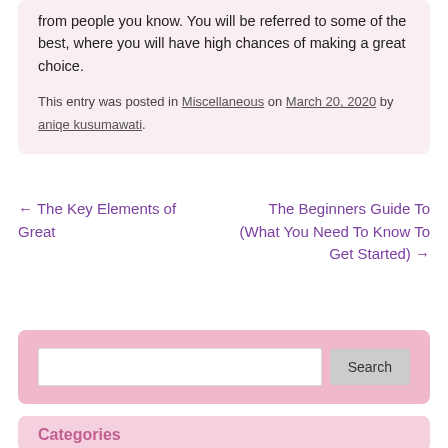from people you know. You will be referred to some of the best, where you will have high chances of making a great choice.
This entry was posted in Miscellaneous on March 20, 2020 by aniqe kusumawati.
← The Key Elements of Great   The Beginners Guide To (What You Need To Know To Get Started) →
Search